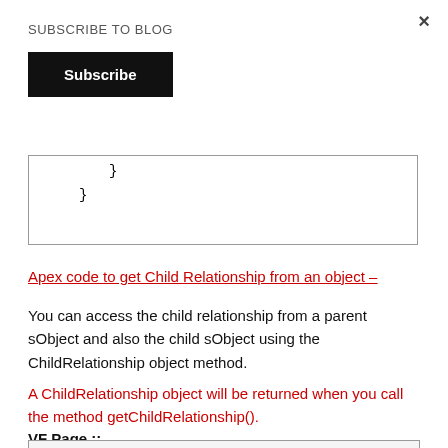SUBSCRIBE TO BLOG
Subscribe
[Figure (screenshot): Code block showing closing braces: '    }' and '}' on separate lines]
Apex code to get Child Relationship from an object –
You can access the child relationship from a parent sObject and also the child sObject using the ChildRelationship object method.
A ChildRelationship object will be returned when you call the method getChildRelationship().
VF Page ::